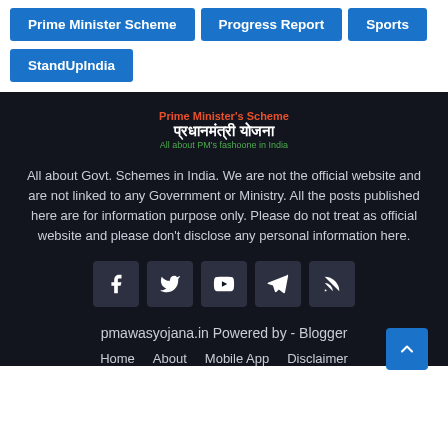Prime Minister Scheme
Progress Report
Sports
StandUpIndia
[Figure (logo): Prime Minister's Scheme logo with Hindi text 'प्रधानमंत्री योजना' and tagline 'All about PM's fashoone in India']
All about Govt. Schemes in India. We are not the official website and are not linked to any Government or Ministry. All the posts published here are for information purpose only. Please do not treat as official website and please don't disclose any personal information here.
[Figure (infographic): Social media icons: Facebook, Twitter, YouTube, Telegram, RSS]
pmawasyojana.in Powered by - Blogger
Home   About   Mobile App   Disclaimer